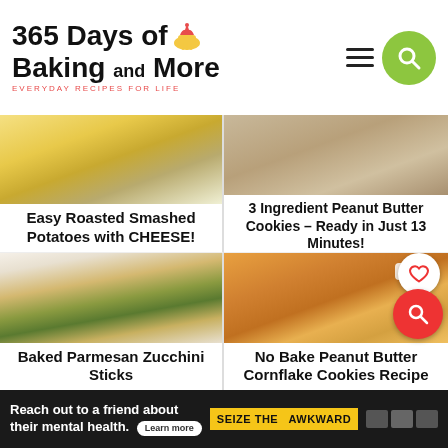365 Days of Baking and More - EVERYDAY RECIPES FOR LIFE
[Figure (photo): Food photo of roasted smashed potatoes with cheese, top portion visible]
Easy Roasted Smashed Potatoes with CHEESE!
[Figure (photo): Food photo of peanut butter cookies on a tray, top portion visible]
3 Ingredient Peanut Butter Cookies – Ready in Just 13 Minutes!
[Figure (photo): Baked parmesan zucchini sticks on a plate with white dipping sauce]
Baked Parmesan Zucchini Sticks
[Figure (photo): No bake peanut butter cornflake cookies clustered together, with 1,669 saves indicator and heart/search overlay buttons]
No Bake Peanut Butter Cornflake Cookies Recipe
[Figure (infographic): Advertisement banner: Reach out to a friend about their mental health. Learn more. SEIZE THE AWKWARD.]